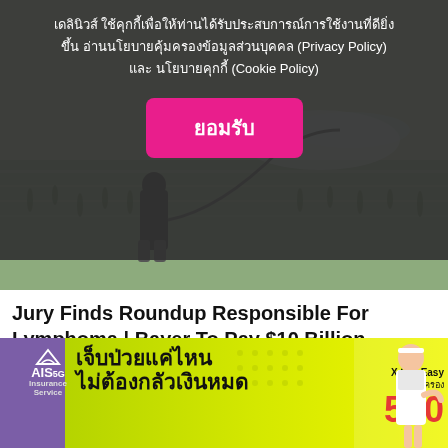[Figure (photo): Person in boots spraying pesticide/herbicide on a flooded rice paddy field with a hose sprayer]
เดลินิวส์ ใช้คุกกี้เพื่อให้ท่านได้รับประสบการณ์การใช้งานที่ดียิ่งขึ้น อ่านนโยบายคุ้มครองข้อมูลส่วนบุคคล (Privacy Policy) และ นโยบายคุกกี้ (Cookie Policy)
ยอมรับ
Jury Finds Roundup Responsible For Lymphoma | Bayer To Pay $10 Billion
National Injury Bureau | Sponsored
Sign Up
[Figure (photo): Partial view of what appears to be a grey cushioned object or bag]
[Figure (infographic): AIS 5G Insurance Service advertisement banner in Thai language. Shows AIS 5G Insurance Service logo, Thai text reading เจ็บป่วยแค่ไหน ไม่ต้องกลัวเงินหมด, and X'RU Easy branding with 500 and a woman in medical attire]